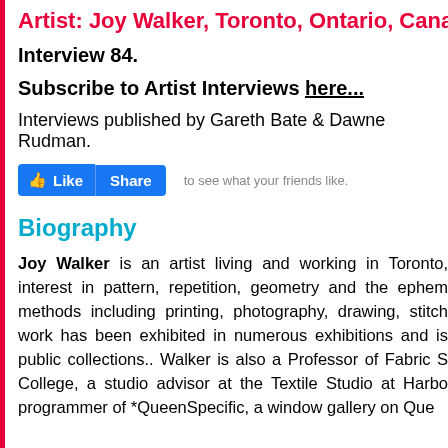Artist: Joy Walker, Toronto, Ontario, Canada
Interview 84.
Subscribe to Artist Interviews here...
Interviews published by Gareth Bate & Dawne Rudman.
[Figure (other): Facebook Like and Share buttons with text 'to see what your friends like.']
Biography
Joy Walker is an artist living and working in Toronto, with an interest in pattern, repetition, geometry and the ephemeral. She uses methods including printing, photography, drawing, stitch and more. Her work has been exhibited in numerous exhibitions and is included in public collections.. Walker is also a Professor of Fabric Studies at Humber College, a studio advisor at the Textile Studio at Harbourfront Centre, programmer of *QueenSpecific, a window gallery on Queen